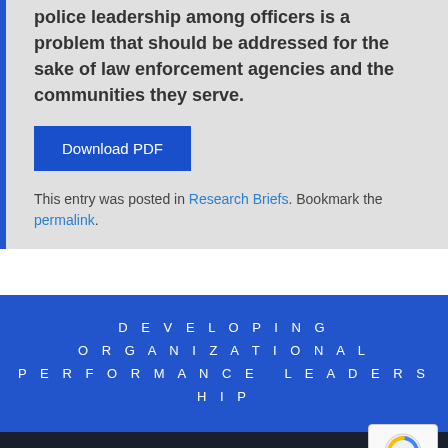police leadership among officers is a problem that should be addressed for the sake of law enforcement agencies and the communities they serve.
Download PDF
This entry was posted in Research Briefs. Bookmark the permalink.
DEVELOPING ORGANIZATIONAL PERFORMANCE LEADERSHIP
COMPANY INFO